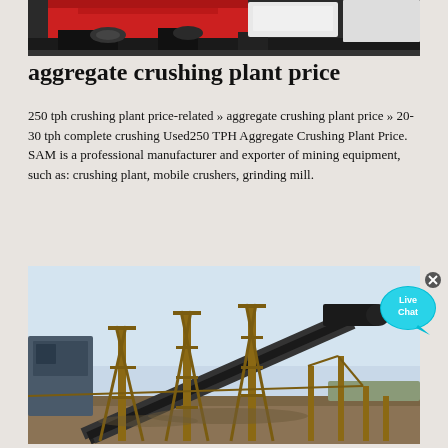[Figure (photo): Close-up photo of red and black industrial crushing machine equipment, top portion visible]
aggregate crushing plant price
250 tph crushing plant price-related » aggregate crushing plant price » 20-30 tph complete crushing Used250 TPH Aggregate Crushing Plant Price. SAM is a professional manufacturer and exporter of mining equipment, such as: crushing plant, mobile crushers, grinding mill.
[Figure (photo): Industrial conveyor belt system at a crushing/aggregate plant, large elevated conveyor structure with steel framework, outdoor industrial site]
[Figure (other): Live Chat button - cyan speech bubble with 'Live Chat' text and X close button]
Static Cone Crusher
2021-9-21 · The TC Cone Crusher provides an excellent reduction and product cubicity for the production of high quality aggregate and sub-base material. Specification. Value.